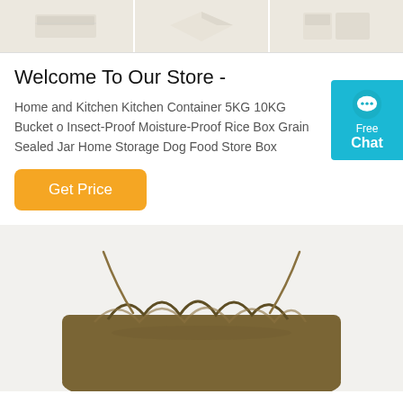[Figure (photo): Three product image panels showing light-colored fabric/cloth items on white/cream background]
Welcome To Our Store -
Home and Kitchen Kitchen Container 5KG 10KG Bucket o Insect-Proof Moisture-Proof Rice Box Grain Sealed Jar Home Storage Dog Food Store Box
[Figure (other): Orange 'Get Price' button and a teal 'Free Chat' widget on the right side]
[Figure (photo): Brown/olive drawstring bag on light background, showing the top gathered portion of the bag with drawstrings visible]